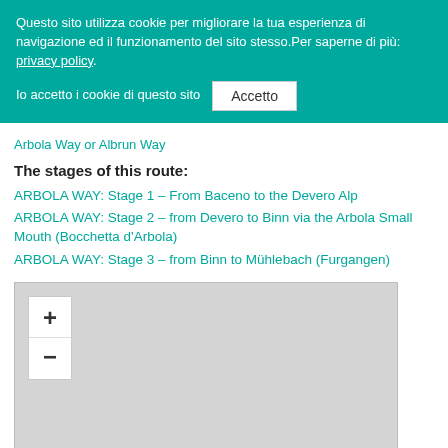Questo sito utilizza cookie per migliorare la tua esperienza di navigazione ed il funzionamento del sito stesso.Per saperne di più: privacy policy.
Io accetto i cookie di questo sito  [Accetto]
Arbola Way or Albrun Way
The stages of this route:
ARBOLA WAY: Stage 1 – From Baceno to the Devero Alp
ARBOLA WAY: Stage 2 – from Devero to Binn via the Arbola Small Mouth (Bocchetta d'Arbola)
ARBOLA WAY: Stage 3 – from Binn to Mühlebach (Furgangen)
[Figure (map): Interactive map with zoom controls (+/-) showing a gray placeholder map area]